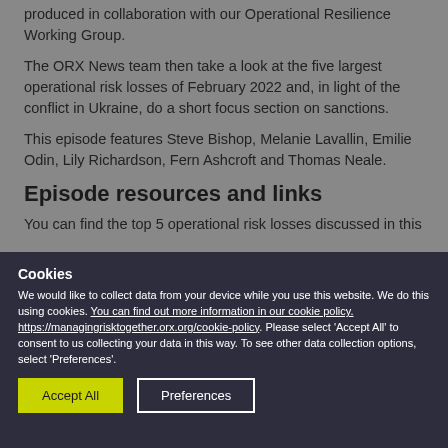produced in collaboration with our Operational Resilience Working Group.
The ORX News team then take a look at the five largest operational risk losses of February 2022 and, in light of the conflict in Ukraine, do a short focus section on sanctions.
This episode features Steve Bishop, Melanie Lavallin, Emilie Odin, Lily Richardson, Fern Ashcroft and Thomas Neale.
Episode resources and links
You can find the top 5 operational risk losses discussed in this
Cookies
We would like to collect data from your device while you use this website. We do this using cookies. You can find out more information in our cookie policy. https://managingrisktogether.orx.org/cookie-policy. Please select 'Accept All' to consent to us collecting your data in this way. To see other data collection options, select 'Preferences'.